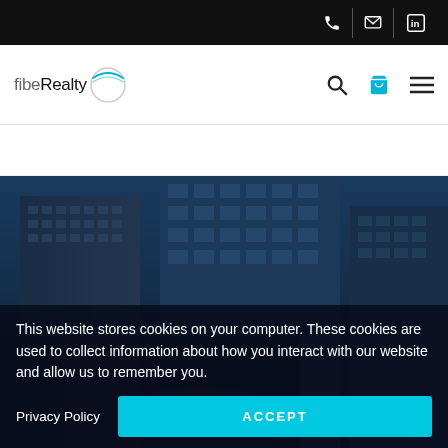fibeRealty website header with phone, email, and LinkedIn icons, search, cart, and hamburger menu
[Figure (screenshot): Website screenshot showing fibeRealty logo navigation bar with top black icon bar containing phone, email, LinkedIn icons, and main nav with search, cart (cyan), and hamburger menu icons]
[Figure (photo): Hero section with photo of tall glass skyscrapers from a low angle against a blue sky]
This website stores cookies on your computer. These cookies are used to collect information about how you interact with our website and allow us to remember you.
Privacy Policy
ACCEPT